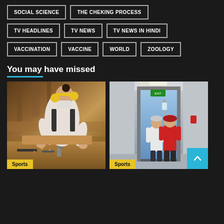SOCIAL SCIENCE
THE CHEKING PROCESS
TV HEADLINES
TV NEWS
TV NEWS IN HINDI
VACCINATION
VACCINE
WORLD
ZOOLOGY
You may have missed
[Figure (photo): Person wearing yellow ear muffs and face mask working with wood in a workshop, woodworking scene]
Sports
[Figure (photo): Hospital corridor with two people walking away from camera, one in white medical coat and one in red jacket, IV stand visible]
Sports